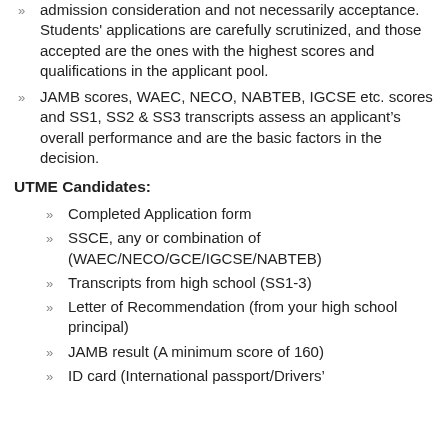admission consideration and not necessarily acceptance. Students' applications are carefully scrutinized, and those accepted are the ones with the highest scores and qualifications in the applicant pool.
JAMB scores, WAEC, NECO, NABTEB, IGCSE etc. scores and SS1, SS2 & SS3 transcripts assess an applicant's overall performance and are the basic factors in the decision.
UTME Candidates:
Completed Application form
SSCE, any or combination of (WAEC/NECO/GCE/IGCSE/NABTEB)
Transcripts from high school (SS1-3)
Letter of Recommendation (from your high school principal)
JAMB result (A minimum score of 160)
ID card (International passport/Drivers'